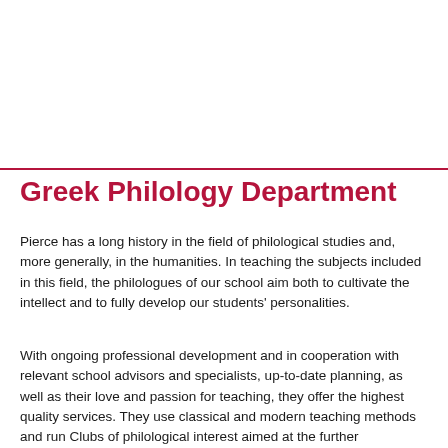Greek Philology Department
Pierce has a long history in the field of philological studies and, more generally, in the humanities. In teaching the subjects included in this field, the philologues of our school aim both to cultivate the intellect and to fully develop our students' personalities.
With ongoing professional development and in cooperation with relevant school advisors and specialists, up-to-date planning, as well as their love and passion for teaching, they offer the highest quality services. They use classical and modern teaching methods and run Clubs of philological interest aimed at the further development of our students' skills.